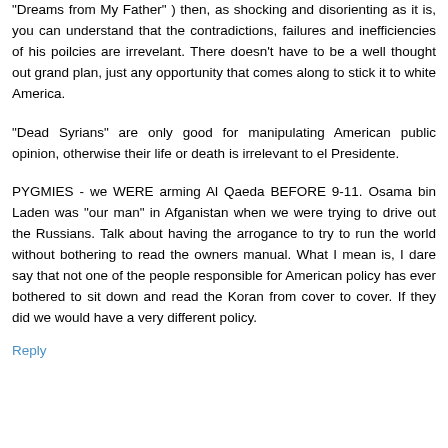"Dreams from My Father" ) then, as shocking and disorienting as it is, you can understand that the contradictions, failures and inefficiencies of his poilcies are irrevelant. There doesn't have to be a well thought out grand plan, just any opportunity that comes along to stick it to white America.
"Dead Syrians" are only good for manipulating American public opinion, otherwise their life or death is irrelevant to el Presidente.
PYGMIES - we WERE arming Al Qaeda BEFORE 9-11. Osama bin Laden was "our man" in Afganistan when we were trying to drive out the Russians. Talk about having the arrogance to try to run the world without bothering to read the owners manual. What I mean is, I dare say that not one of the people responsible for American policy has ever bothered to sit down and read the Koran from cover to cover. If they did we would have a very different policy.
Reply